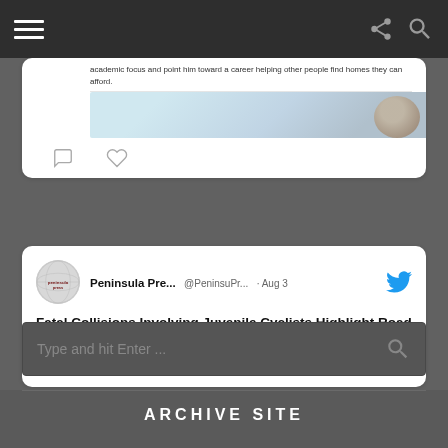Navigation bar with hamburger menu, share icon, and search icon
[Figure (screenshot): Partial tweet card from previous tweet showing article text preview and image thumbnail with comment and like icons]
[Figure (screenshot): Tweet card from Peninsula Press (@PeninsuPr...) dated Aug 3 with Twitter bird logo. Text: 'Fatal Collisions Involving Juvenile Cyclists Highlight Road Safety Issues In The Bay Area' and link peninsulapress.com/2022/06/10/fat]
Type and hit Enter ...
ARCHIVE SITE